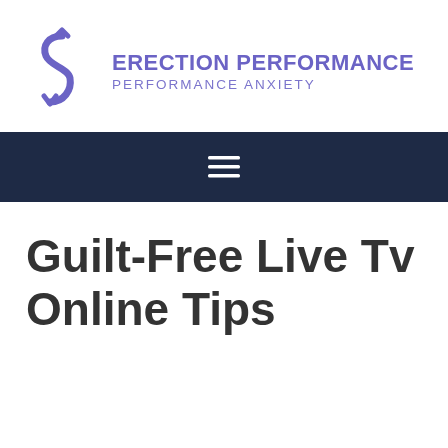[Figure (logo): Erection Performance Performance Anxiety logo with stylized S-shaped figure in purple and bold purple text]
[Figure (other): Dark navy navigation bar with hamburger menu icon (three horizontal white lines)]
Guilt-Free Live Tv Online Tips